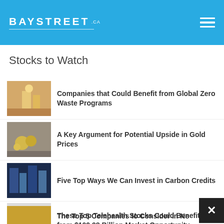BAYSTREET .CA
Stocks to Watch
Companies that Could Benefit from Global Zero Waste Programs
A Key Argument for Potential Upside in Gold Prices
Five Top Ways We Can Invest in Carbon Credits
These Top Telehealth Stocks Could Benefit from $109.98 Billion Market Opportunity
The Top 5 Companies to Consider in Nevada's...